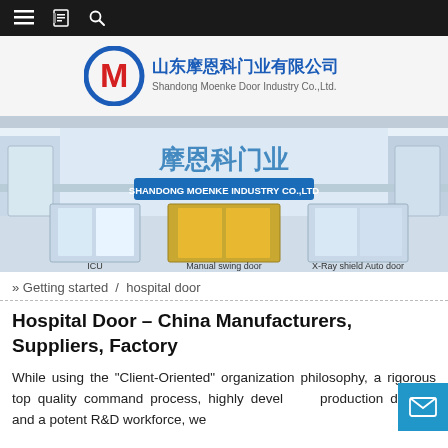Navigation bar with menu, bookmark, and search icons
[Figure (logo): Shandong Moenke Door Industry Co.,Ltd. logo with circular M emblem in red and blue, Chinese text 山东摩恩科门业有限公司 and English text Shandong Moenke Door Industry Co.,Ltd.]
[Figure (photo): Banner image showing hospital corridor with automatic doors, Chinese text 摩恩科门业, SHANDONG MOENKE INDUSTRY CO.,LTD label, and product thumbnails: ICU door, Manual swing door, X-Ray shield Auto door]
» Getting started / hospital door
Hospital Door – China Manufacturers, Suppliers, Factory
While using the "Client-Oriented" organization philosophy, a rigorous top quality command process, highly developed production devices and a potent R&D workforce, we